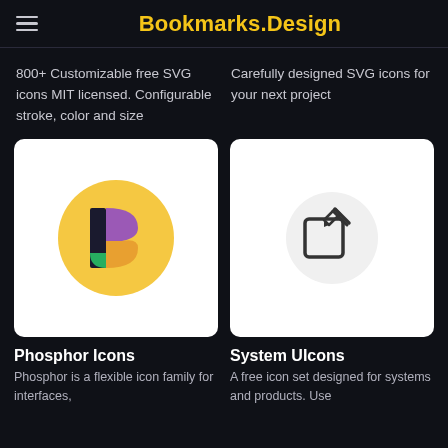Bookmarks.Design
800+ Customizable free SVG icons MIT licensed. Configurable stroke, color and size
Carefully designed SVG icons for your next project
[Figure (logo): Phosphor Icons logo: yellow circle with colorful P letter icon (purple, orange, green segments)]
[Figure (illustration): System UIcons: white card with a light gray circle containing a pencil/edit square icon outline]
Phosphor Icons
Phosphor is a flexible icon family for interfaces,
System UIcons
A free icon set designed for systems and products. Use